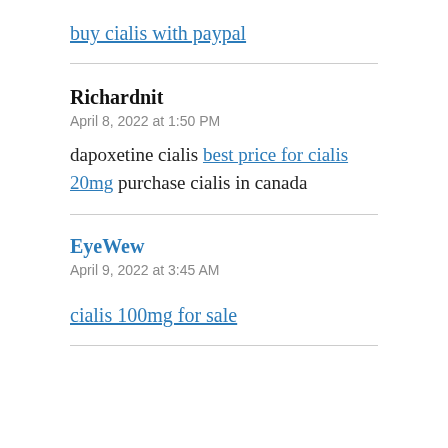buy cialis with paypal
Richardnit
April 8, 2022 at 1:50 PM
dapoxetine cialis best price for cialis 20mg purchase cialis in canada
EyeWew
April 9, 2022 at 3:45 AM
cialis 100mg for sale